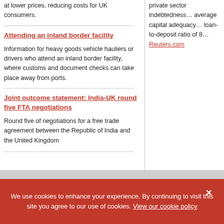at lower prices, reducing costs for UK consumers.
private sector indebtedness... average capital adequacy... loan-to-deposit ratio of 8...
Reuters.com
Attending an inland border facility
Information for heavy goods vehicle hauliers or drivers who attend an inland border facility, where customs and document checks can take place away from ports.
Joint outcome statement: India-UK round five FTA negotiations
Round five of negotiations for a free trade agreement between the Republic of India and the United Kingdom
We use cookies to enhance your experience. By continuing to visit this site you agree to our use of cookies. View our cookie policy